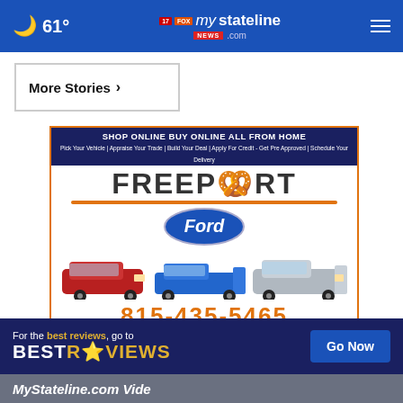🌙 61° | mystateline.com | NEWS
More Stories ›
[Figure (advertisement): Freeport Ford dealership advertisement. Header: SHOP ONLINE BUY ONLINE ALL FROM HOME. Pick Your Vehicle | Appraise Your Trade | Build Your Deal | Apply For Credit – Get Pre Approved | Schedule Your Delivery. Large text: FREEPORT with orange pretzel 'o'. Orange horizontal line. Ford oval logo. Three vehicles (red SUV, blue pickup, silver truck). Phone: 815-435-5465. Address: 555 W. Meadows, Freeport, IL. Close button X.]
[Figure (advertisement): Best Reviews advertisement. Text: For the best reviews, go to BESTREVIEWS. Button: Go Now.]
MyStateline.com Video